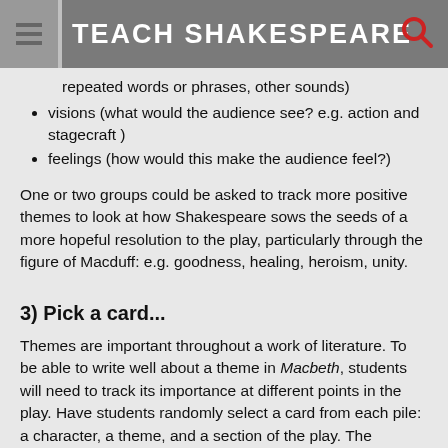TEACH SHAKESPEARE
repeated words or phrases, other sounds)
visions (what would the audience see? e.g. action and stagecraft )
feelings (how would this make the audience feel?)
One or two groups could be asked to track more positive themes to look at how Shakespeare sows the seeds of a more hopeful resolution to the play, particularly through the figure of Macduff: e.g. goodness, healing, heroism, unity.
3) Pick a card...
Themes are important throughout a work of literature. To be able to write well about a theme in Macbeth, students will need to track its importance at different points in the play. Have students randomly select a card from each pile: a character, a theme, and a section of the play. The